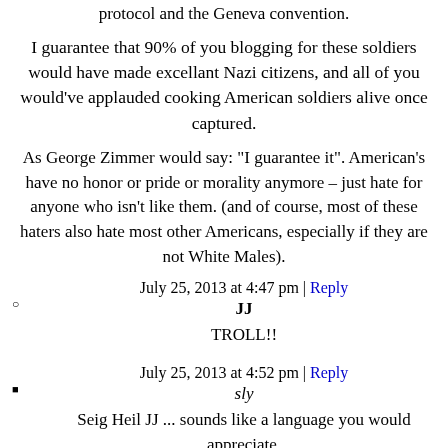No surprise listening to ignorant civilians discussing military protocol and the Geneva convention.
I guarantee that 90% of you blogging for these soldiers would have made excellant Nazi citizens, and all of you would've applauded cooking American soldiers alive once captured.
As George Zimmer would say: "I guarantee it". American's have no honor or pride or morality anymore – just hate for anyone who isn't like them. (and of course, most of these haters also hate most other Americans, especially if they are not White Males).
July 25, 2013 at 4:47 pm | Reply
JJ
TROLL!!
July 25, 2013 at 4:52 pm | Reply
sly
Seig Heil JJ ... sounds like a language you would appreciate.
Why capture enemies when we could just be